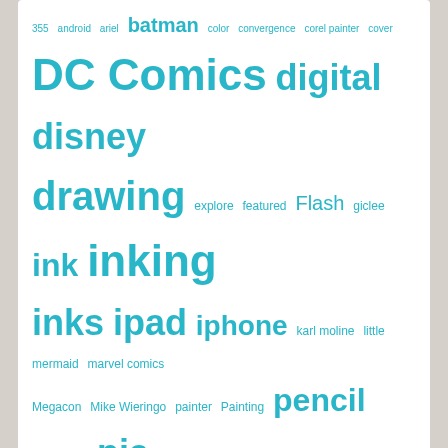[Figure (infographic): Tag cloud with words of varying sizes in teal/cyan color: 355, android, ariel, batman, color, convergence, corel painter, cover, DC Comics, digital, disney, drawing, explore, featured, Flash, giclee, ink, inking, inks, ipad, iphone, karl moline, little mermaid, marvel comics, Megacon, Mike Wieringo, painter, Painting, pencil, photoshop, pia guerra, procreate, rags morales, sketch, sketchbook mobile, star wars, Supergirl, superman, vertigo, watercolor, Wonder Woman, Y: The last Man, yorick, zenbrush, zen brush]
MarzanTV
[Figure (screenshot): YouTube video thumbnail with black background, circular channel logo (golden/dark yellow with paint brushes illustration), video title 'Marzan Jr inking Goblin Head', and three-dot menu icon on the right.]